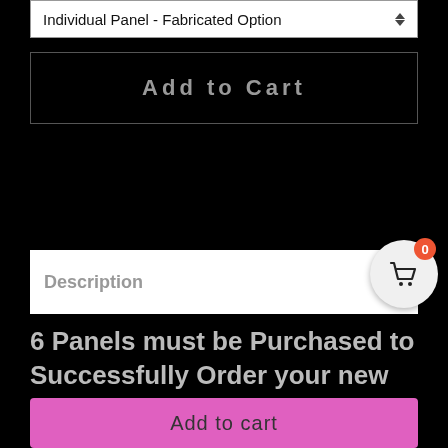Individual Panel - Fabricated Option
Add to Cart
Description
6 Panels must be Purchased to Successfully Order your new Elevated fire ring.
Add to cart